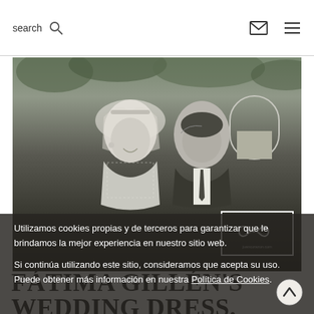search
[Figure (photo): Black and white wedding photo of a bride and groom. The bride is wearing a veil and lace dress, smiling, while the groom kisses her cheek. Outdoor setting with greenery and a white arch in background. Logo box with infinity symbol and URL juancorazon.com visible in lower right of photo.]
Utilizamos cookies propias y de terceros para garantizar que le brindamos la mejor experiencia en nuestro sitio web.
Si continúa utilizando este sitio, consideramos que acepta su uso. Puede obtener más información en nuestra Política de Cookies.
FÁTIMA GILLÉN'S WEDDING DRESS.